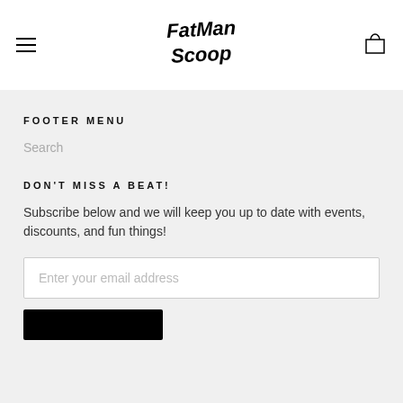[Figure (logo): Fatman Scoop handwritten logo in black ink]
FOOTER MENU
Search
DON'T MISS A BEAT!
Subscribe below and we will keep you up to date with events, discounts, and fun things!
Enter your email address